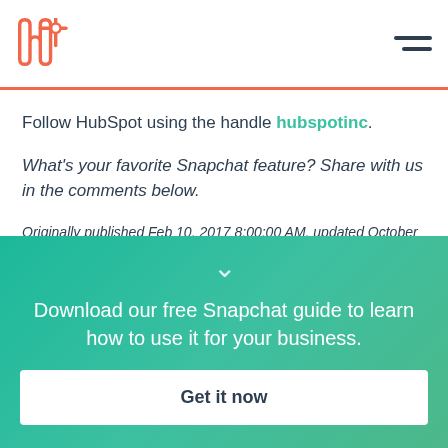HubSpot logo and navigation
Follow HubSpot using the handle hubspotinc.
What's your favorite Snapchat feature? Share with us in the comments below.
Originally published Feb 10, 2017 8:00:00 AM, updated October 29 2019
Download our free Snapchat guide to learn how to use it for your business.
Get it now